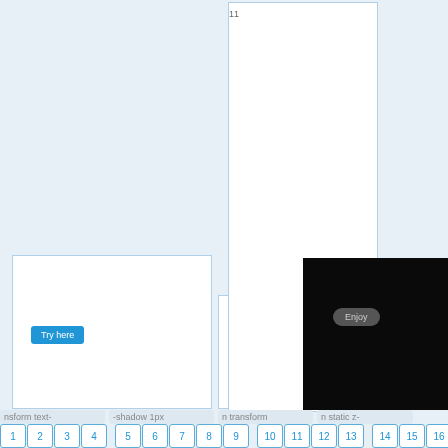[Figure (screenshot): UI panel 1 with blue button labeled 'Try here' on white background with blue border]
[Figure (screenshot): UI panel 2 with blue button labeled 'Enjoy' on white background with blue border]
[Figure (screenshot): Tall white box UI panel with blue border, partially visible number '11' at top]
[Figure (screenshot): Right black panel with dark rounded button labeled 'Enjoy' on black background]
nsform text-
-shadow 1px
n transform
n static z-
1 2 3 4 5 6 7 8 9 10 11 12 13 14 15 16